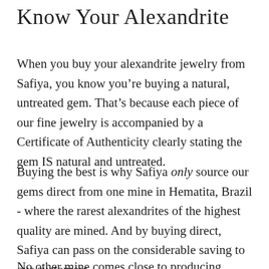Know Your Alexandrite
When you buy your alexandrite jewelry from Safiya, you know you’re buying a natural, untreated gem. That’s because each piece of our fine jewelry is accompanied by a Certificate of Authenticity clearly stating the gem IS natural and untreated.
Buying the best is why Safiya only source our gems direct from one mine in Hematita, Brazil - where the rarest alexandrites of the highest quality are mined. And by buying direct, Safiya can pass on the considerable saving to our customers.
No other mine comes close to producing